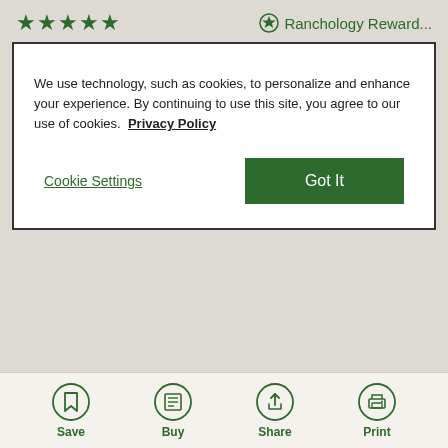★★★★★   ⊛ Ranchology Reward...
We use technology, such as cookies, to personalize and enhance your experience. By continuing to use this site, you agree to our use of cookies.  Privacy Policy

Cookie Settings    Got It
Recommends this product ✔ Yes
★★★★☆   ⊛ Ranchology Reward...
Save  Buy  Share  Print